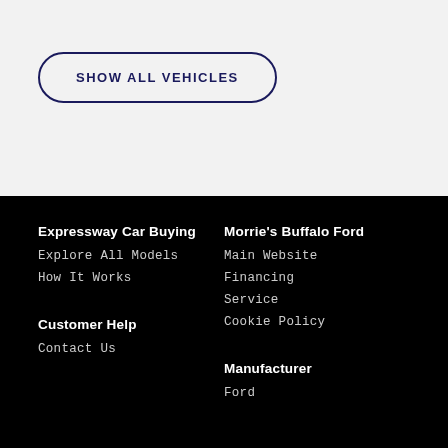SHOW ALL VEHICLES
Expressway Car Buying
Explore All Models
How It Works
Morrie's Buffalo Ford
Main Website
Financing
Service
Cookie Policy
Customer Help
Contact Us
Manufacturer
Ford